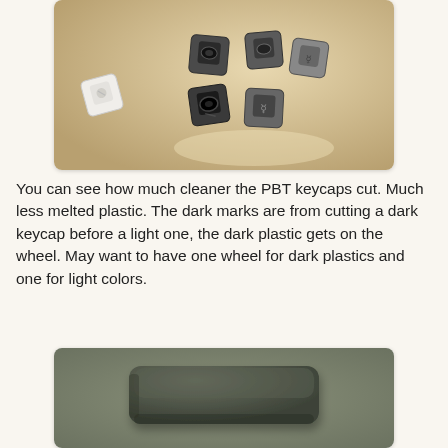[Figure (photo): Top-down photo of multiple keyboard keycaps (PBT) arranged on a beige/tan surface, showing cut keycaps with some dark marks, both dark and light colored keycaps visible]
You can see how much cleaner the PBT keycaps cut. Much less melted plastic. The dark marks are from cutting a dark keycap before a light one, the dark plastic gets on the wheel. May want to have one wheel for dark plastics and one for light colors.
[Figure (photo): Close-up photo of a single dark olive/army green keyboard keycap on a matching green background, showing a smooth rectangular keycap with rounded edges]